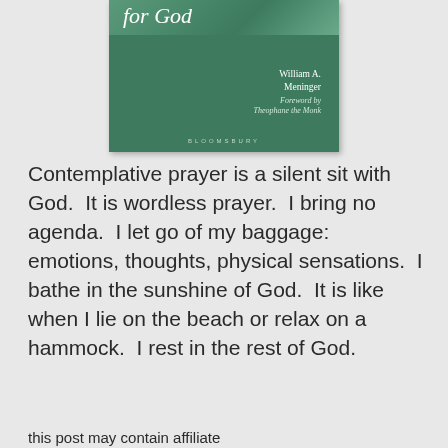[Figure (photo): Book cover of a Bloomsbury publication with green background, showing partial title 'for God' in white italic text, author name 'William A. Meninger', and foreword credit 'Foreword by Theophane the Monk', with BLOOMSBURY publisher name at bottom.]
Contemplative prayer is a silent sit with God.  It is wordless prayer.  I bring no agenda.  I let go of my baggage:  emotions, thoughts, physical sensations.  I bathe in the sunshine of God.  It is like when I lie on the beach or relax on a hammock.  I rest in the rest of God.
this post may contain affiliate